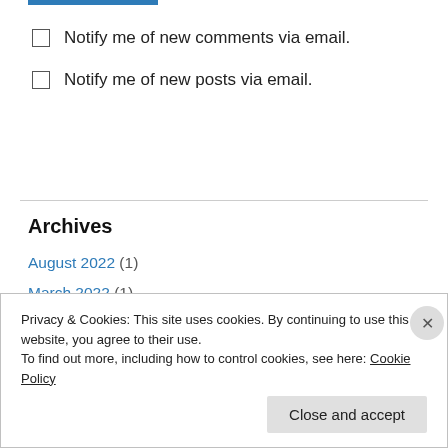Notify me of new comments via email.
Notify me of new posts via email.
Archives
August 2022 (1)
March 2022 (1)
January 2022 (1)
November 2021 (1)
October 2021 (1)
Privacy & Cookies: This site uses cookies. By continuing to use this website, you agree to their use. To find out more, including how to control cookies, see here: Cookie Policy
Close and accept